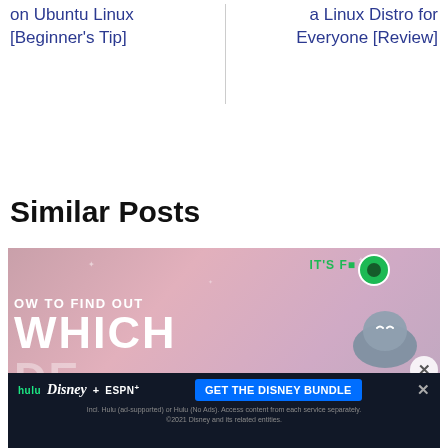on Ubuntu Linux [Beginner's Tip]
a Linux Distro for Everyone [Review]
Similar Posts
[Figure (screenshot): Article thumbnail showing text 'HOW TO FIND OUT WHICH DE ENVIRONMENT' on a pink background with sleeping character illustration, overlaid with a Disney Bundle advertisement banner featuring Hulu, Disney+, and ESPN+ logos.]